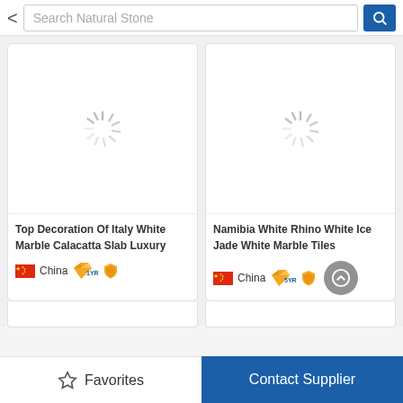[Figure (screenshot): Mobile app search bar with back arrow, 'Search Natural Stone' placeholder text, and blue search button]
[Figure (photo): Product card: loading spinner placeholder for 'Top Decoration Of Italy White Marble Calacatta Slab Luxury' from China, 1YR supplier]
Top Decoration Of Italy White Marble Calacatta Slab Luxury
China  1YR
[Figure (photo): Product card: loading spinner placeholder for 'Namibia White Rhino White Ice Jade White Marble Tiles' from China, 5YR supplier]
Namibia White Rhino White Ice Jade White Marble Tiles
China  5YR
Favorites
Contact Supplier